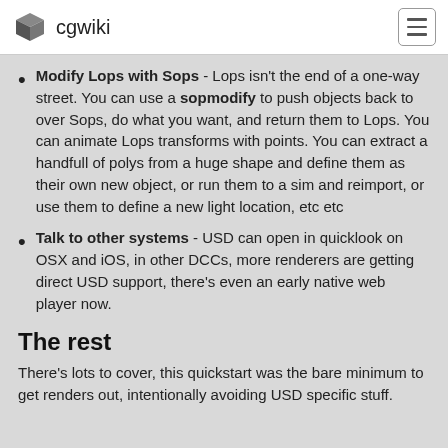cgwiki
Modify Lops with Sops - Lops isn't the end of a one-way street. You can use a sopmodify to push objects back to over Sops, do what you want, and return them to Lops. You can animate Lops transforms with points. You can extract a handfull of polys from a huge shape and define them as their own new object, or run them to a sim and reimport, or use them to define a new light location, etc etc
Talk to other systems - USD can open in quicklook on OSX and iOS, in other DCCs, more renderers are getting direct USD support, there's even an early native web player now.
The rest
There's lots to cover, this quickstart was the bare minimum to get renders out, intentionally avoiding USD specific stuff.